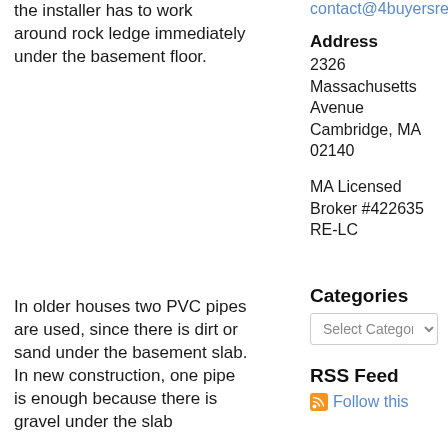the installer has to work around rock ledge immediately under the basement floor.
contact@4buyersre...
Address
2326 Massachusetts Avenue Cambridge, MA 02140
MA Licensed Broker #422635 RE-LC
In older houses two PVC pipes are used, since there is dirt or sand under the basement slab. In new construction, one pipe is enough because there is gravel under the slab
Categories
Select Category
RSS Feed
Follow this